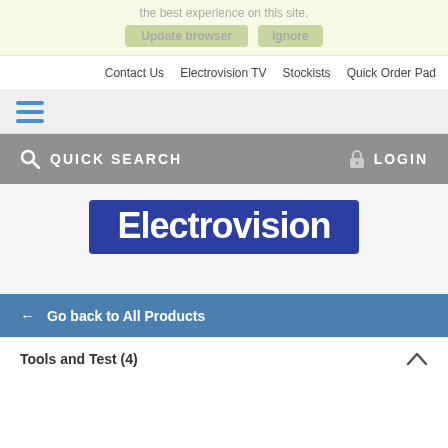the best experience on this site.
[Figure (screenshot): Browser update notification bar with 'Update browser' and 'Ignore' buttons]
Contact Us   Electrovision TV   Stockists   Quick Order Pad
[Figure (screenshot): Hamburger menu icon with three blue horizontal lines on grey background]
[Figure (screenshot): Grey search and login bar with QUICK SEARCH and LOGIN labels]
[Figure (logo): Electrovision logo - white text on dark blue background]
← Go back to All Products
Tools and Test (4)